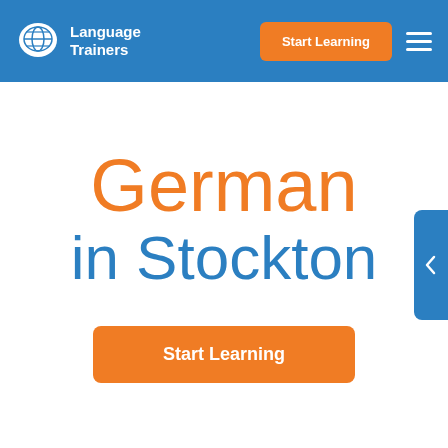[Figure (logo): Language Trainers logo with globe/speech bubble icon and white text on blue header background]
German in Stockton
Start Learning